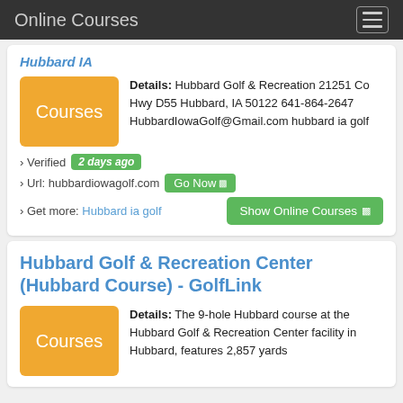Online Courses
Details: Hubbard Golf & Recreation 21251 Co Hwy D55 Hubbard, IA 50122 641-864-2647 HubbardIowaGolf@Gmail.com hubbard ia golf
› Verified 2 days ago
› Url: hubbardiowagolf.com Go Now
› Get more: Hubbard ia golf
Hubbard Golf & Recreation Center (Hubbard Course) - GolfLink
Details: The 9-hole Hubbard course at the Hubbard Golf & Recreation Center facility in Hubbard, features 2,857 yards